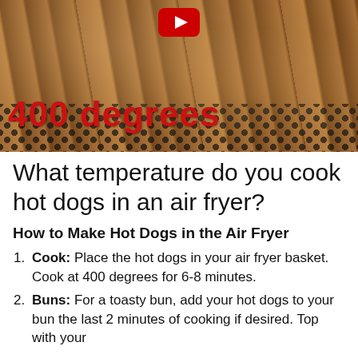[Figure (photo): Hot dogs / sausages cooking in an air fryer basket with holes visible, overlay text '400 degrees' in red and a YouTube play button icon at top center]
What temperature do you cook hot dogs in an air fryer?
How to Make Hot Dogs in the Air Fryer
Cook: Place the hot dogs in your air fryer basket. Cook at 400 degrees for 6-8 minutes.
Buns: For a toasty bun, add your hot dogs to your bun the last 2 minutes of cooking if desired. Top with your